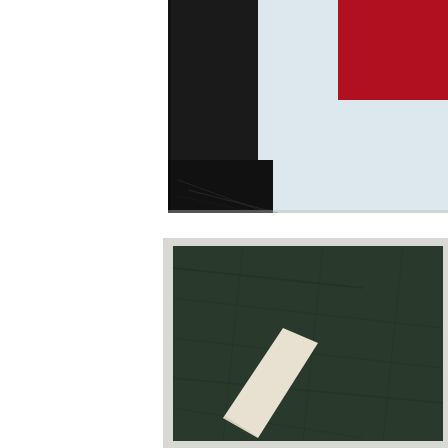[Figure (photo): Partial view of an artwork showing black and red/crimson painted areas on a light blue/white canvas background, cropped at the top-right corner of the page.]
Acryli
[Figure (photo): Partial view of an artwork showing a dark green textured surface with a diagonal pale/cream-colored geometric shape (bar or stripe) crossing from lower-left to upper-right, cropped at the bottom-right of the page.]